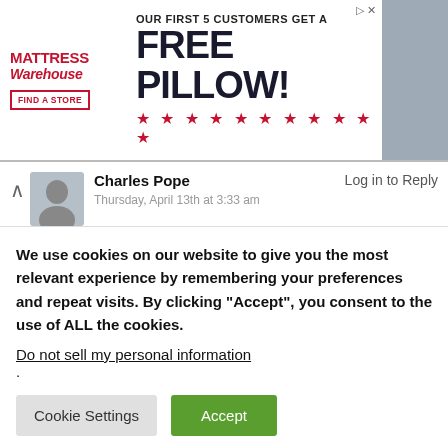[Figure (screenshot): Advertisement banner for Mattress Warehouse. Text reads: 'OUR FIRST 5 CUSTOMERS GET A FREE PILLOW!' with stars and a 'FIND A STORE' button. Logo on left, mattresses image on right.]
Charles Pope
Thursday, April 13th at 3:33 am
Log in to Reply
King Manasseh at El Escorial
Actually, it just dawned on me that I already knew the answer to this particular mystery, but didn't even realize it! Biblical King Manasseh (a.k.a. Tirhaka/Taharqa) would have been one inspiration for Muhammed due to his
We use cookies on our website to give you the most relevant experience by remembering your preferences and repeat visits. By clicking “Accept”, you consent to the use of ALL the cookies.
Do not sell my personal information.
Cookie Settings    Accept